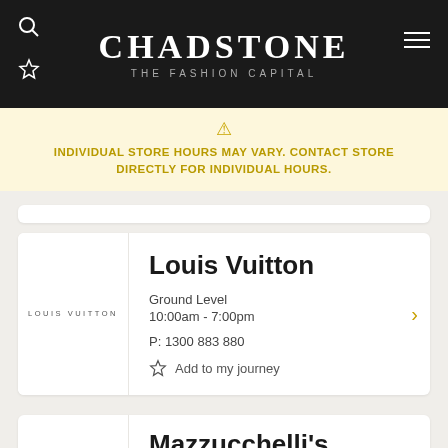CHADSTONE THE FASHION CAPITAL
INDIVIDUAL STORE HOURS MAY VARY. CONTACT STORE DIRECTLY FOR INDIVIDUAL HOURS.
Louis Vuitton
Ground Level
10:00am - 7:00pm
P: 1300 883 880
Add to my journey
Mazzucchelli's